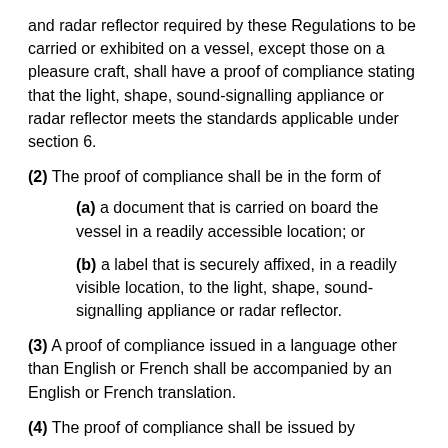and radar reflector required by these Regulations to be carried or exhibited on a vessel, except those on a pleasure craft, shall have a proof of compliance stating that the light, shape, sound-signalling appliance or radar reflector meets the standards applicable under section 6.
(2) The proof of compliance shall be in the form of
(a) a document that is carried on board the vessel in a readily accessible location; or
(b) a label that is securely affixed, in a readily visible location, to the light, shape, sound-signalling appliance or radar reflector.
(3) A proof of compliance issued in a language other than English or French shall be accompanied by an English or French translation.
(4) The proof of compliance shall be issued by
(a) a government that is a party to the Convention